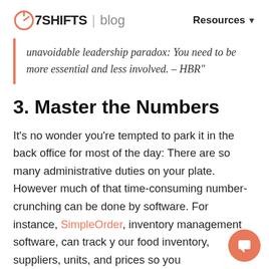7SHIFTS | blog   Resources
unavoidable leadership paradox: You need to be more essential and less involved. – HBR"
3. Master the Numbers
It's no wonder you're tempted to park it in the back office for most of the day: There are so many administrative duties on your plate. However much of that time-consuming number-crunching can be done by software. For instance, SimpleOrder, inventory management software, can track your food inventory, suppliers, units, and prices so you